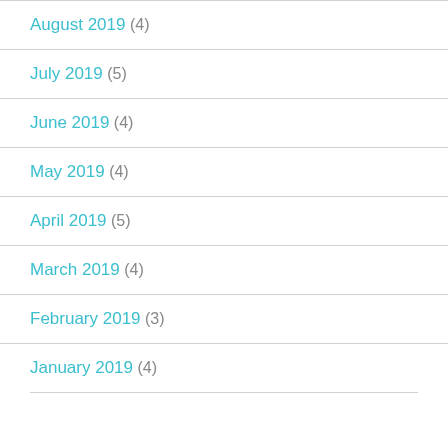August 2019 (4)
July 2019 (5)
June 2019 (4)
May 2019 (4)
April 2019 (5)
March 2019 (4)
February 2019 (3)
January 2019 (4)